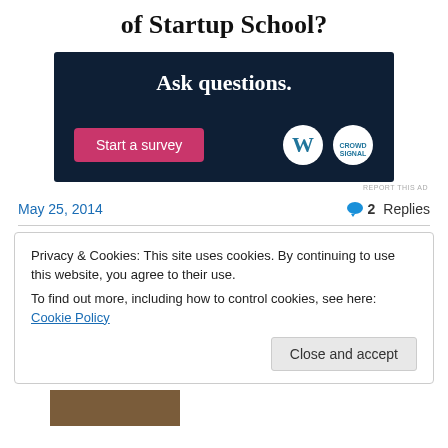of Startup School?
[Figure (infographic): Dark navy advertisement box with text 'Ask questions.' and a pink 'Start a survey' button with WordPress and CrowdSignal logos]
REPORT THIS AD
May 25, 2014
2 Replies
Privacy & Cookies: This site uses cookies. By continuing to use this website, you agree to their use.
To find out more, including how to control cookies, see here: Cookie Policy
Close and accept